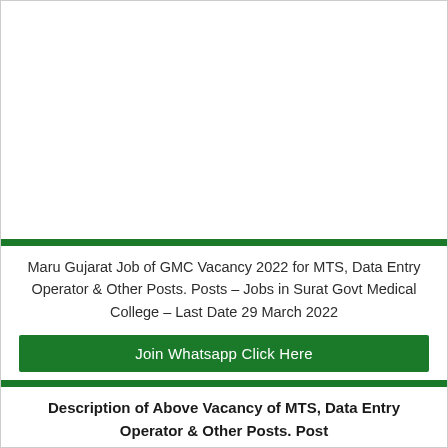Maru Gujarat Job of GMC Vacancy 2022 for MTS, Data Entry Operator & Other Posts. Posts – Jobs in Surat Govt Medical College – Last Date 29 March 2022
Join Whatsapp Click Here
Description of Above Vacancy of MTS, Data Entry Operator & Other Posts. Post